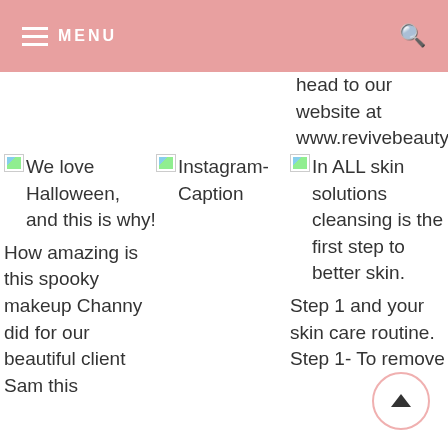MENU
head to our website at www.revivebeautya
[Figure (photo): Broken image placeholder for 'We love Halloween, and this is why!' post]
We love Halloween, and this is why! How amazing is this spooky makeup Channy did for our beautiful client Sam this
[Figure (photo): Broken image placeholder for 'Instagram-Caption' post]
Instagram-Caption
[Figure (photo): Broken image placeholder for 'In ALL skin solutions cleansing is the first step to better skin.' post]
In ALL skin solutions cleansing is the first step to better skin. Step 1 and your skin care routine. Step 1- To remove